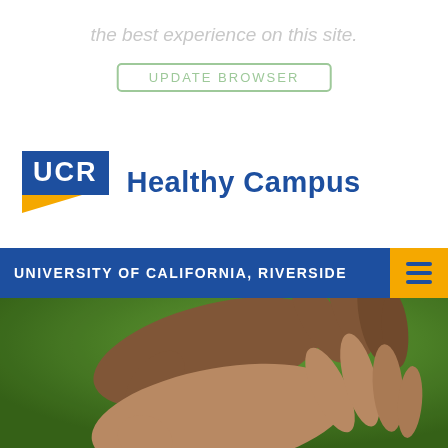the best experience on this site.
UPDATE BROWSER
[Figure (logo): UCR Healthy Campus logo with blue UCR box and gold triangle accent]
UNIVERSITY OF CALIFORNIA, RIVERSIDE
[Figure (photo): Close-up photo of two pairs of hands reaching toward each other against a green background]